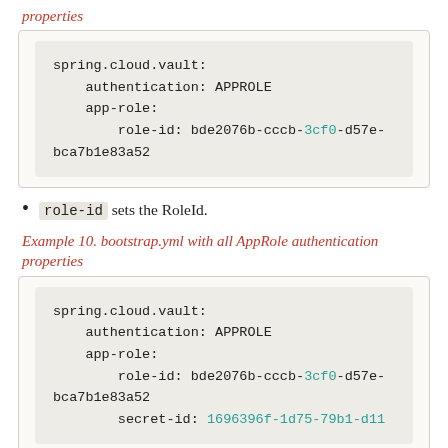Example 9. bootstrap.yml with AppRole authentication properties
spring.cloud.vault:
    authentication: APPROLE
    app-role:
        role-id: bde2076b-cccb-3cf0-d57e-bca7b1e83a52
role-id sets the RoleId.
Example 10. bootstrap.yml with all AppRole authentication properties
spring.cloud.vault:
    authentication: APPROLE
    app-role:
        role-id: bde2076b-cccb-3cf0-d57e-bca7b1e83a52
        secret-id: ...